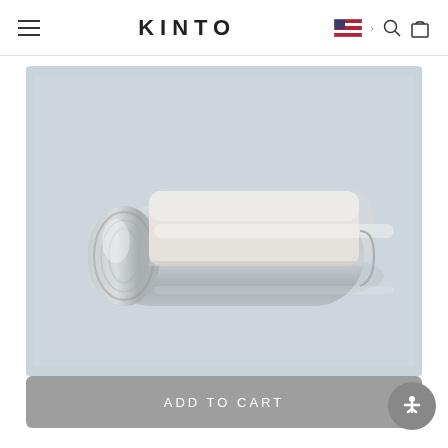KINTO
[Figure (photo): Top-down view of a stainless steel water bottle with a white/cream colored lid partially slid open, photographed against a light blue-grey background.]
ADD TO CART